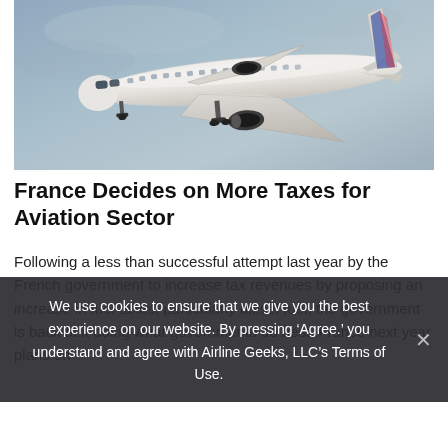[Figure (photo): Photograph of a white passenger airplane (Air France livery) in flight against a grey-blue sky, viewed from below-front angle with landing gear visible.]
France Decides on More Taxes for Aviation Sector
Following a less than successful attempt last year by the French government to increase tax revenues by proposing an increase in fuel taxes, particularly diesel fuel, the government is back at it doing what governments do best. France next year plans on
We use cookies to ensure that we give you the best experience on our website. By pressing ‘Agree.’ you understand and agree with Airline Geeks, LLC’s Terms of Use.